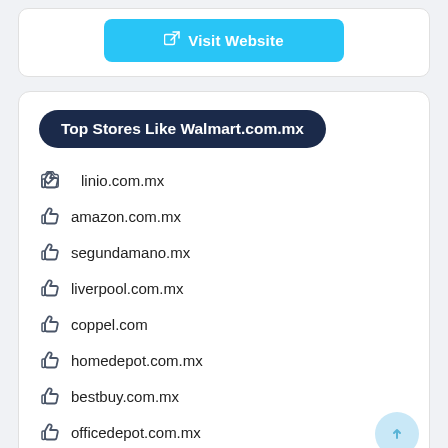Visit Website
Top Stores Like Walmart.com.mx
linio.com.mx
amazon.com.mx
segundamano.mx
liverpool.com.mx
coppel.com
homedepot.com.mx
bestbuy.com.mx
officedepot.com.mx